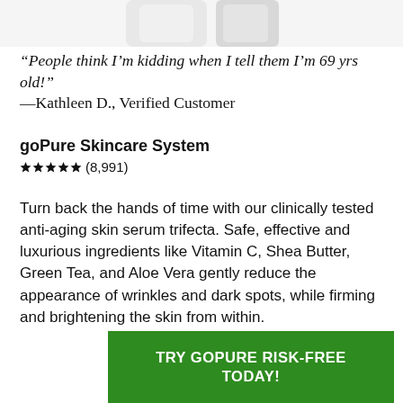[Figure (photo): Partial view of goPure skincare product bottles at top of page]
“People think I’m kidding when I tell them I’m 69 yrs old!” —Kathleen D., Verified Customer
goPure Skincare System
⭐⭐⭐⭐⭐ (8,991)
Turn back the hands of time with our clinically tested anti-aging skin serum trifecta. Safe, effective and luxurious ingredients like Vitamin C, Shea Butter, Green Tea, and Aloe Vera gently reduce the appearance of wrinkles and dark spots, while firming and brightening the skin from within.
TRY GOPURE RISK-FREE TODAY!